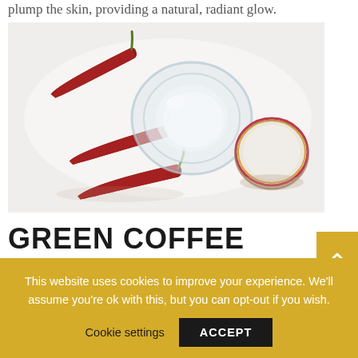plump the skin, providing a natural, radiant glow.
[Figure (photo): Overhead photo on white background showing dried red chili peppers, an open glass jar with clear cream/gel, and a small round cosmetic pot with cream and gold/red lid.]
GREEN COFFEE
Coffea arabica seed oil is extracted by cold pressing green coffee beans. Its high
This website uses cookies to improve your experience. We'll assume you're ok with this, but you can opt-out if you wish.
Cookie settings   ACCEPT